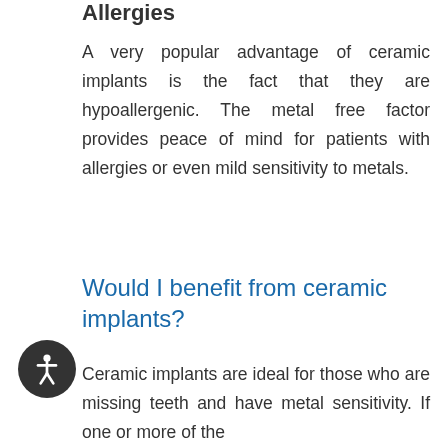Allergies
A very popular advantage of ceramic implants is the fact that they are hypoallergenic. The metal free factor provides peace of mind for patients with allergies or even mild sensitivity to metals.
Would I benefit from ceramic implants?
Ceramic implants are ideal for those who are missing teeth and have metal sensitivity. If one or more of the